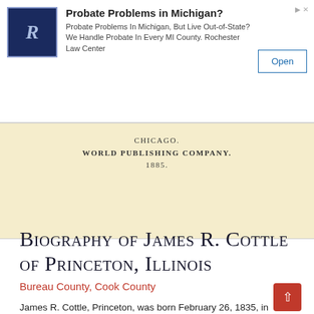[Figure (screenshot): Advertisement banner for Rochester Law Center: logo with stylized R, headline 'Probate Problems in Michigan?', body text about handling probate in every MI county, and an 'Open' button.]
[Figure (photo): Scanned old book title page strip showing text 'WORLD PUBLISHING COMPANY.' and '1885.' on aged cream paper background.]
Biography of James R. Cottle of Princeton, Illinois
Bureau County, Cook County
James R. Cottle, Princeton, was born February 26, 1835, in Singapore, East India. His father, Richard Cottle, is a native of England, and yet resides in Bristol. In early life he was a carriage trimmer, but is now Government Inspector of the